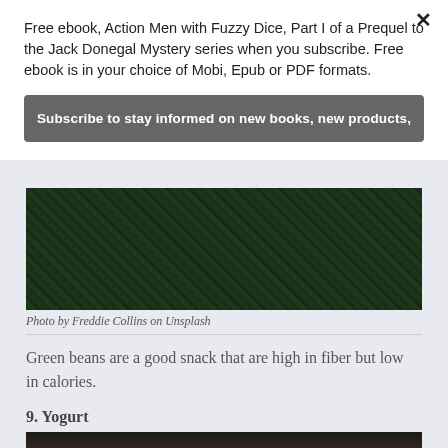Free ebook, Action Men with Fuzzy Dice, Part I of a Prequel to the Jack Donegal Mystery series when you subscribe. Free ebook is in your choice of Mobi, Epub or PDF formats.
Subscribe to stay informed on new books, new products,
[Figure (photo): Close-up photo of dark green beans piled together]
Photo by Freddie Collins on Unsplash
Green beans are a good snack that are high in fiber but low in calories.
9. Yogurt
[Figure (photo): Dark partially visible photo at bottom of page]